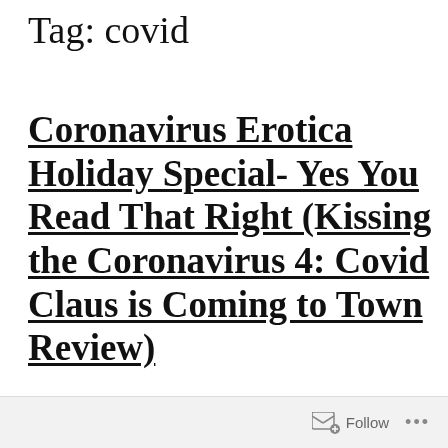Tag: covid
Coronavirus Erotica Holiday Special- Yes You Read That Right (Kissing the Coronavirus 4: Covid Claus is Coming to Town Review)
Follow ...